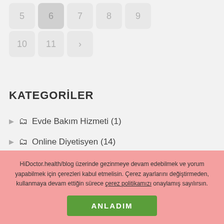5 6 7 8 9
10 11 >
KATEGORİLER
▷ 📋 Evde Bakım Hizmeti (1)
▷ 📋 Online Diyetisyen (14)
▷ 📋 Online Doktor (16)
HiDoctor.health/blog üzerinde gezinmeye devam edebilmek ve yorum yapabilmek için çerezleri kabul etmelisin. Çerez ayarlarını değiştirmeden, kullanmaya devam ettiğin sürece çerez politikamızı onaylamış sayılırsın.
ANLADIM